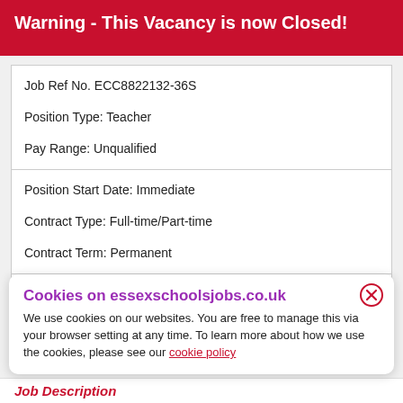Warning - This Vacancy is now Closed!
| Job Ref No. ECC8822132-36S | Position Type: Teacher | Pay Range: Unqualified |
| Position Start Date: Immediate | Contract Type: Full-time/Part-time | Contract Term: Permanent |
| Application Close: 26/05/2022 4pm |
Cookies on essexschoolsjobs.co.uk
We use cookies on our websites. You are free to manage this via your browser setting at any time. To learn more about how we use the cookies, please see our cookie policy
Job Description